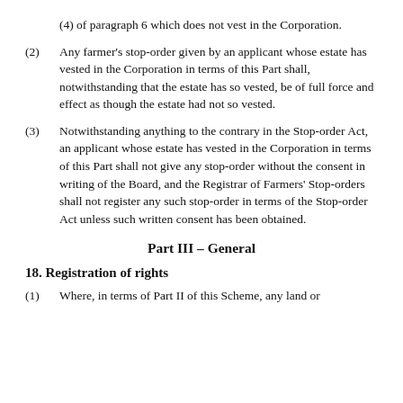(4) of paragraph 6 which does not vest in the Corporation.
(2) Any farmer’s stop-order given by an applicant whose estate has vested in the Corporation in terms of this Part shall, notwithstanding that the estate has so vested, be of full force and effect as though the estate had not so vested.
(3) Notwithstanding anything to the contrary in the Stop-order Act, an applicant whose estate has vested in the Corporation in terms of this Part shall not give any stop-order without the consent in writing of the Board, and the Registrar of Farmers’ Stop-orders shall not register any such stop-order in terms of the Stop-order Act unless such written consent has been obtained.
Part III – General
18. Registration of rights
(1) Where, in terms of Part II of this Scheme, any land or